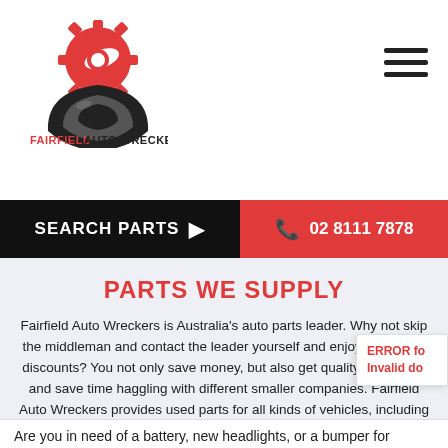[Figure (logo): Fairfield Auto Wreckers logo with red gear and black tire graphic, company name in red and black text]
SEARCH PARTS ▶   📞 02 8111 7878
PARTS WE SUPPLY
Fairfield Auto Wreckers is Australia's auto parts leader. Why not skip the middleman and contact the leader yourself and enjoy MASSIVE discounts? You not only save money, but also get quality assurance and save time haggling with different smaller companies. Fairfield Auto Wreckers provides used parts for all kinds of vehicles, including but definitely not limited to:
Are you in need of a battery, new headlights, or a bumper for